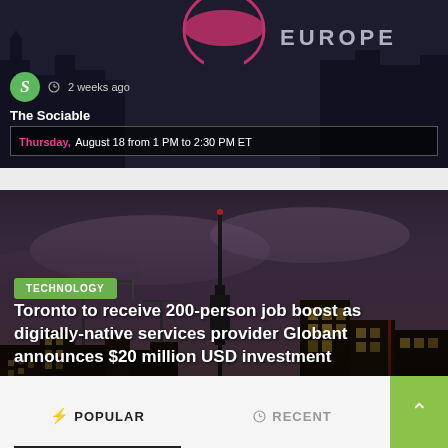[Figure (screenshot): Top news card with dark background showing European landmarks silhouette, green S logo, '2 weeks ago' timestamp, 'The Sociable' source, and subtitle text 'Thursday, August 18 from 1 PM to 2:30 PM ET']
[Figure (photo): Toronto city skyline at night/dusk with dramatic sky, CN Tower visible, city lights glowing amber. Contains 'TECHNOLOGY' green badge, article headline about Toronto 200-person job boost and Globant $20 million USD investment, author avatar, '2 weeks ago' timestamp, and 'Fraser Gillies' byline]
POPULAR
RECENT